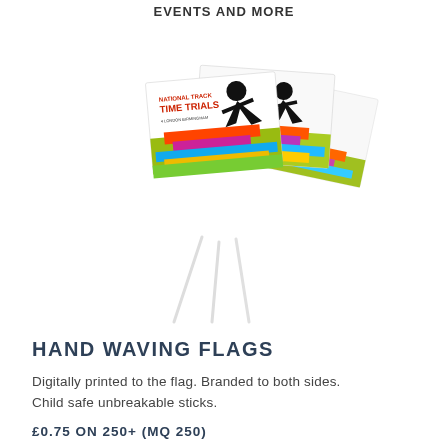EVENTS AND MORE
[Figure (photo): Three colorful hand waving flags with printed National Track Time Trials design, attached to white sticks, fanned out showing multiple flags]
HAND WAVING FLAGS
Digitally printed to the flag. Branded to both sides. Child safe unbreakable sticks.
£0.75 ON 250+ (MQ 250)